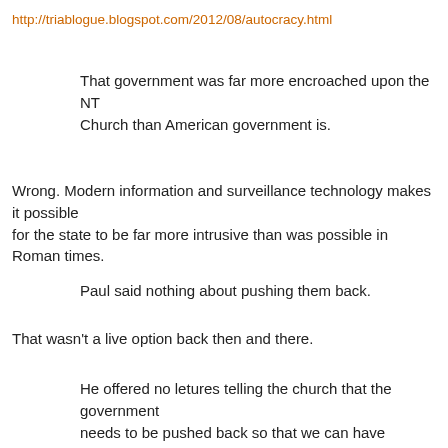http://triablogue.blogspot.com/2012/08/autocracy.html
That government was far more encroached upon the NT Church than American government is.
Wrong. Modern information and surveillance technology makes it possible for the state to be far more intrusive than was possible in Roman times.
Paul said nothing about pushing them back.
That wasn't a live option back then and there.
He offered no letures telling the church that the government needs to be pushed back so that we can have religious liberty and live in a nice moral culture in which to serve